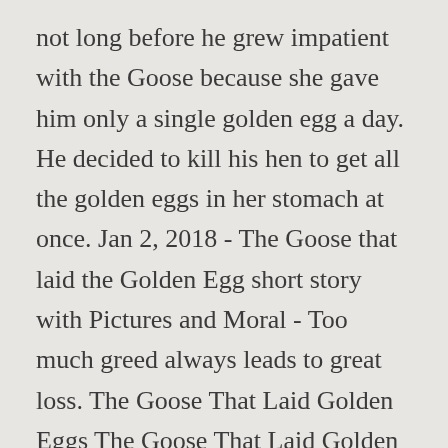not long before he grew impatient with the Goose because she gave him only a single golden egg a day. He decided to kill his hen to get all the golden eggs in her stomach at once. Jan 2, 2018 - The Goose that laid the Golden Egg short story with Pictures and Moral - Too much greed always leads to great loss. The Goose That Laid Golden Eggs The Goose That Laid Golden Eggs : Once in a village lived a poor man. The tale of the goose that laid golden eggs is one of them. It had laid another golden egg. So he passed his days with great difficulty. Lucky though they were, they soon began to think they were not getting rich fast enough. We're the goose that laid the golden